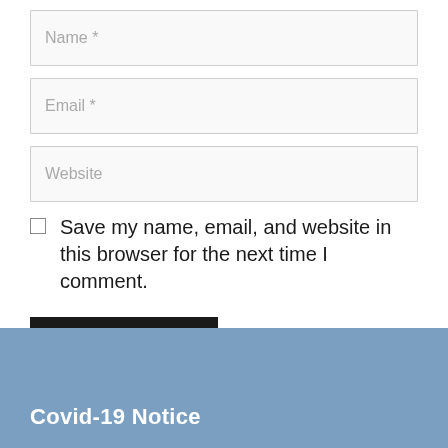Name *
Email *
Website
Save my name, email, and website in this browser for the next time I comment.
Post Comment
Covid-19 Notice